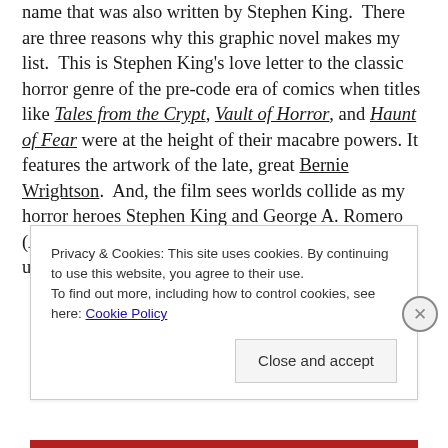name that was also written by Stephen King. There are three reasons why this graphic novel makes my list. This is Stephen King's love letter to the classic horror genre of the pre-code era of comics when titles like Tales from the Crypt, Vault of Horror, and Haunt of Fear were at the height of their macabre powers. It features the artwork of the late, great Bernie Wrightson. And, the film sees worlds collide as my horror heroes Stephen King and George A. Romero (Night of the Living Dead, Dawn of the Dead) team up for a frightfully good time.
Privacy & Cookies: This site uses cookies. By continuing to use this website, you agree to their use. To find out more, including how to control cookies, see here: Cookie Policy